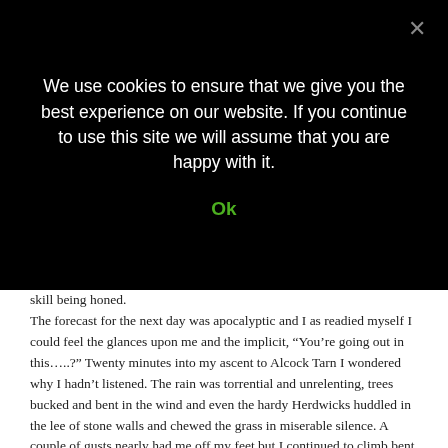We use cookies to ensure that we give you the best experience on our website. If you continue to use this site we will assume that you are happy with it.
Ok
skill being honed. The forecast for the next day was apocalyptic and I as readied myself I could feel the glances upon me and the implicit, “You’re going out in this…..?” Twenty minutes into my ascent to Alcock Tarn I wondered why I hadn’t listened. The rain was torrential and unrelenting, trees bucked and bent in the wind and even the hardy Herdwicks huddled in the lee of stone walls and chewed the grass in miserable silence. A couple of gusts nearly had me off my feet but I continued to climb bent into the wind until I reached the beautifully appointed...